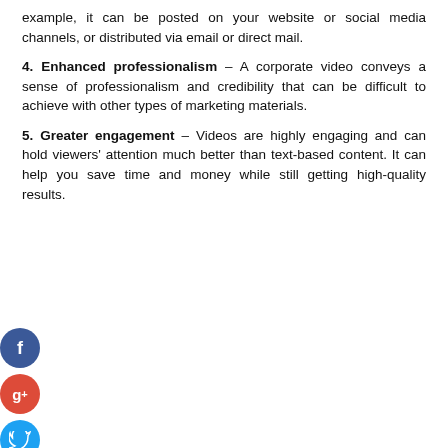example, it can be posted on your website or social media channels, or distributed via email or direct mail.
4. Enhanced professionalism – A corporate video conveys a sense of professionalism and credibility that can be difficult to achieve with other types of marketing materials.
5. Greater engagement – Videos are highly engaging and can hold viewers' attention much better than text-based content. It can help you save time and money while still getting high-quality results.
[Figure (infographic): Social media share icons: Facebook (blue), Google+ (red), Twitter (blue), and a plus/add button (dark), with label 'Business and management']